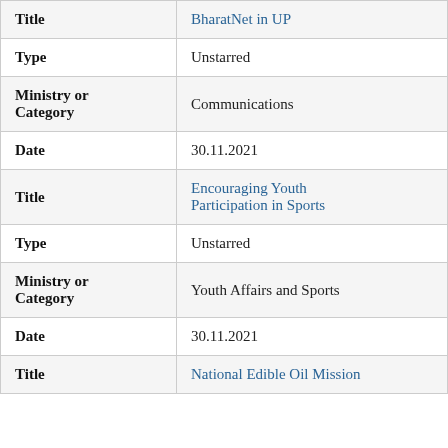| Field | Value |
| --- | --- |
| Title | BharatNet in UP |
| Type | Unstarred |
| Ministry or Category | Communications |
| Date | 30.11.2021 |
| Title | Encouraging Youth Participation in Sports |
| Type | Unstarred |
| Ministry or Category | Youth Affairs and Sports |
| Date | 30.11.2021 |
| Title | National Edible Oil Mission |